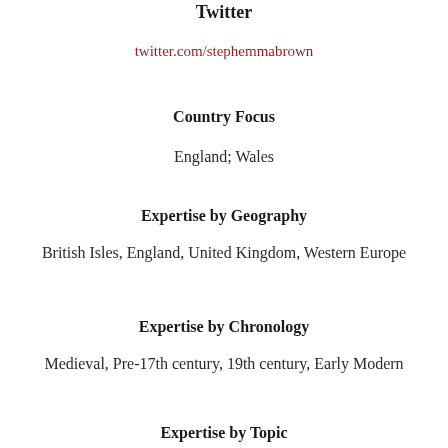Twitter
twitter.com/stephemmabrown
Country Focus
England; Wales
Expertise by Geography
British Isles, England, United Kingdom, Western Europe
Expertise by Chronology
Medieval, Pre-17th century, 19th century, Early Modern
Expertise by Topic